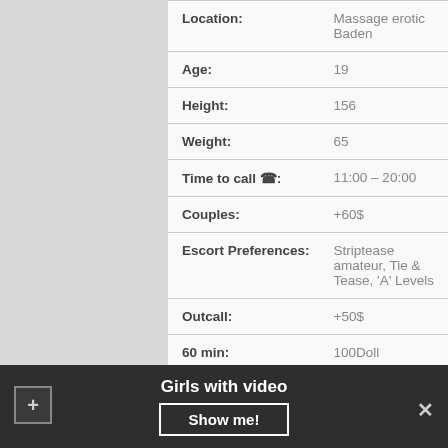| Field | Value |
| --- | --- |
| Location: | Massage erotic Baden |
| Age: | 19 |
| Height: | 156 |
| Weight: | 65 |
| Time to call ☎: | 11:00 – 20:00 |
| Couples: | +60$ |
| Escort Preferences: | Striptease amateur, Tie & Tease, 'A' Levels |
| Outcall: | +50$ |
| 60 min: | 100Doll |
| Gangbang: | 380$ |
Girls with video
Show me!